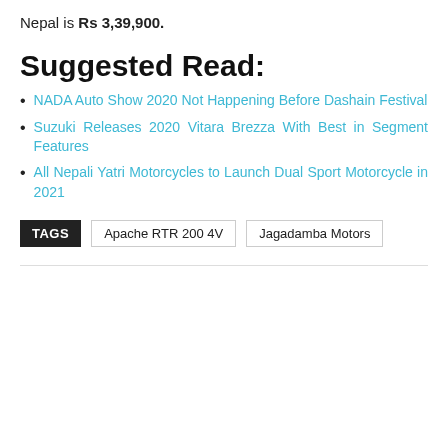Nepal is Rs 3,39,900.
Suggested Read:
NADA Auto Show 2020 Not Happening Before Dashain Festival
Suzuki Releases 2020 Vitara Brezza With Best in Segment Features
All Nepali Yatri Motorcycles to Launch Dual Sport Motorcycle in 2021
TAGS  Apache RTR 200 4V  Jagadamba Motors